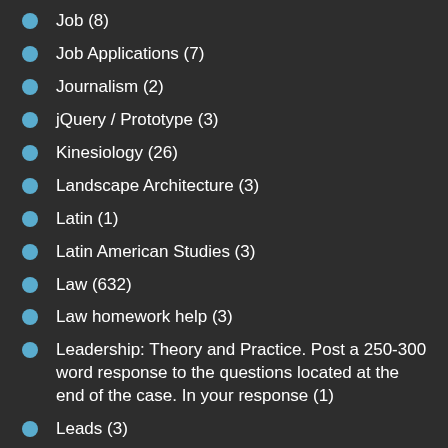Job (8)
Job Applications (7)
Journalism (2)
jQuery / Prototype (3)
Kinesiology (26)
Landscape Architecture (3)
Latin (1)
Latin American Studies (3)
Law (632)
Law homework help (3)
Leadership: Theory and Practice. Post a 250-300 word response to the questions located at the end of the case. In your response (1)
Leads (3)
Linear Algebra (12)